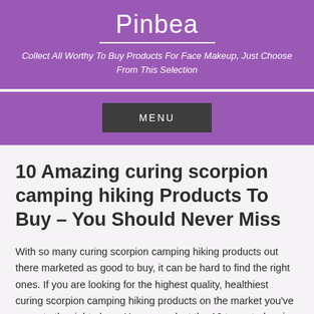Pinbea
Collect All Worthy To Buy Products For Face Makeup, Just Choose From This Selection
MENU
10 Amazing curing scorpion camping hiking Products To Buy – You Should Never Miss
With so many curing scorpion camping hiking products out there marketed as good to buy, it can be hard to find the right ones. If you are looking for the highest quality, healthiest curing scorpion camping hiking products on the market you've come to the right place. Here we select the 10 top-rated curing